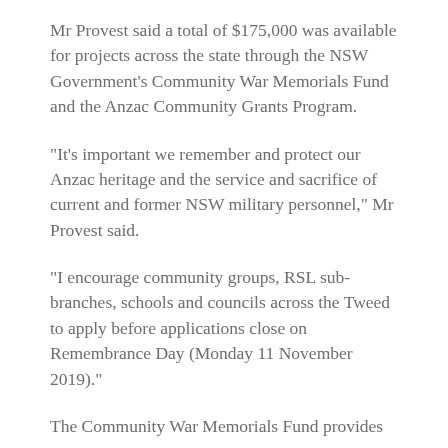Mr Provest said a total of $175,000 was available for projects across the state through the NSW Government's Community War Memorials Fund and the Anzac Community Grants Program.
“It’s important we remember and protect our Anzac heritage and the service and sacrifice of current and former NSW military personnel,” Mr Provest said.
“I encourage community groups, RSL sub-branches, schools and councils across the Tweed to apply before applications close on Remembrance Day (Monday 11 November 2019).”
The Community War Memorials Fund provides